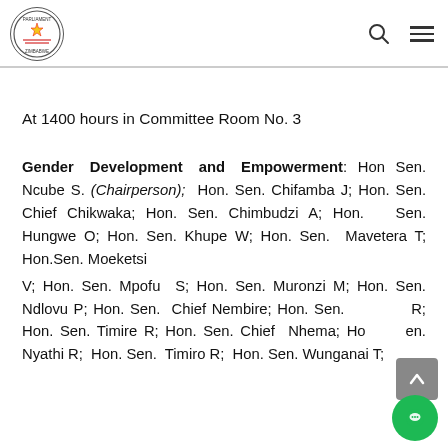Parliament of Zimbabwe logo with search and menu icons
At 1400 hours in Committee Room No. 3
Gender Development and Empowerment: Hon Sen. Ncube S. (Chairperson); Hon. Sen. Chifamba J; Hon. Sen. Chief Chikwaka; Hon. Sen. Chimbudzi A; Hon. Sen. Hungwe O; Hon. Sen. Khupe W; Hon. Sen. Mavetera T; Hon.Sen. Moeketsi V; Hon. Sen. Mpofu S; Hon. Sen. Muronzi M; Hon. Sen. Ndlovu P; Hon. Sen. Chief Nembire; Hon. Sen. R; Hon. Sen. Timire R; Hon. Sen. Chief Nhema; Hon. Sen. Nyathi R; Hon. Sen. Timiro R; Hon. Sen. Wunganai T;